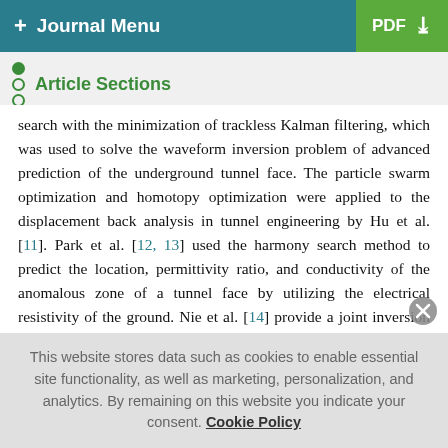+ Journal Menu   PDF ↓
Article Sections
search with the minimization of trackless Kalman filtering, which was used to solve the waveform inversion problem of advanced prediction of the underground tunnel face. The particle swarm optimization and homotopy optimization were applied to the displacement back analysis in tunnel engineering by Hu et al. [11]. Park et al. [12, 13] used the harmony search method to predict the location, permittivity ratio, and conductivity of the anomalous zone of a tunnel face by utilizing the electrical resistivity of the ground. Nie et al. [14] provide a joint inversion method based on an ant colony algorithm and least-square inversion method, which could present a better identification of
This website stores data such as cookies to enable essential site functionality, as well as marketing, personalization, and analytics. By remaining on this website you indicate your consent. Cookie Policy